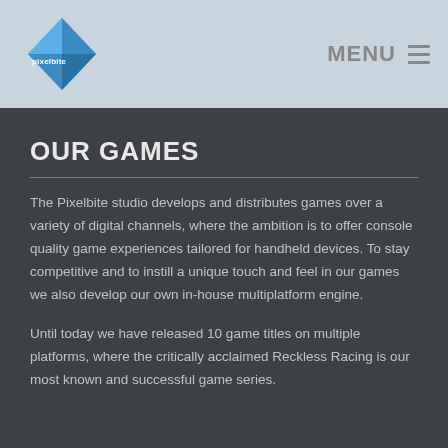pixelbite | MENU
OUR GAMES
The Pixelbite studio develops and distributes games over a variety of digital channels, where the ambition is to offer console quality game experiences tailored for handheld devices. To stay competitive and to instill a unique touch and feel in our games we also develop our own in-house multiplatform engine.
Until today we have released 10 game titles on multiple platforms, where the critically acclaimed Reckless Racing is our most known and successful game series.